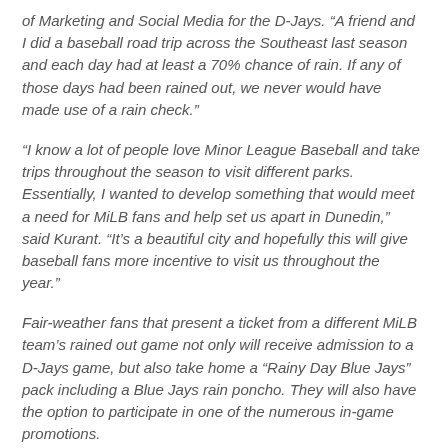of Marketing and Social Media for the D-Jays. “A friend and I did a baseball road trip across the Southeast last season and each day had at least a 70% chance of rain. If any of those days had been rained out, we never would have made use of a rain check.”
“I know a lot of people love Minor League Baseball and take trips throughout the season to visit different parks. Essentially, I wanted to develop something that would meet a need for MiLB fans and help set us apart in Dunedin,” said Kurant. “It’s a beautiful city and hopefully this will give baseball fans more incentive to visit us throughout the year.”
Fair-weather fans that present a ticket from a different MiLB team’s rained out game not only will receive admission to a D-Jays game, but also take home a “Rainy Day Blue Jays” pack including a Blue Jays rain poncho. They will also have the option to participate in one of the numerous in-game promotions.
“It’s a nationwide, international MiLB promotion that is open to everyone from our fellow Jays affiliate in Vancouver all the way to our Florida State League friends in Palm Beach County.”